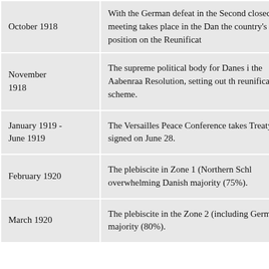| Date | Event |
| --- | --- |
| October 1918 | With the German defeat in the Second… closed meeting takes place in the Dan… the country's position on the Reunificat… |
| November 1918 | The supreme political body for Danes i… the Aabenraa Resolution, setting out th… reunification scheme. |
| January 1919 - June 1919 | The Versailles Peace Conference takes… Treaty is signed on June 28. |
| February 1920 | The plebiscite in Zone 1 (Northern Schl… overwhelming Danish majority (75%). |
| March 1920 | The plebiscite in the Zone 2 (including… German majority (80%). |